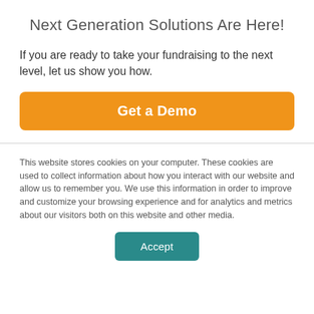Next Generation Solutions Are Here!
If you are ready to take your fundraising to the next level, let us show you how.
Get a Demo
This website stores cookies on your computer. These cookies are used to collect information about how you interact with our website and allow us to remember you. We use this information in order to improve and customize your browsing experience and for analytics and metrics about our visitors both on this website and other media.
Accept